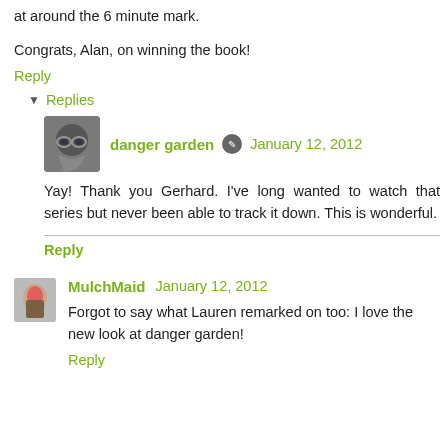at around the 6 minute mark.
Congrats, Alan, on winning the book!
Reply
▾ Replies
danger garden  January 12, 2012
Yay! Thank you Gerhard. I've long wanted to watch that series but never been able to track it down. This is wonderful.
Reply
MulchMaid  January 12, 2012
Forgot to say what Lauren remarked on too: I love the new look at danger garden!
Reply